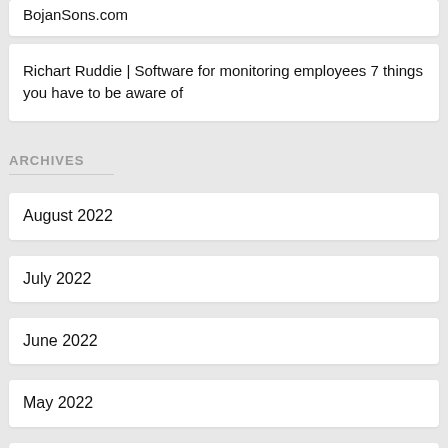BojanSons.com
Richart Ruddie | Software for monitoring employees 7 things you have to be aware of
ARCHIVES
August 2022
July 2022
June 2022
May 2022